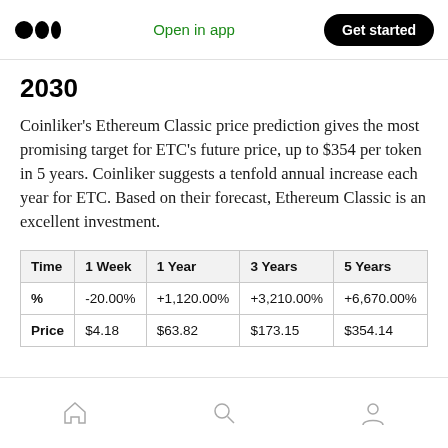Medium — Open in app | Get started
2030
Coinliker’s Ethereum Classic price prediction gives the most promising target for ETC’s future price, up to $354 per token in 5 years. Coinliker suggests a tenfold annual increase each year for ETC. Based on their forecast, Ethereum Classic is an excellent investment.
| Time | 1 Week | 1 Year | 3 Years | 5 Years |
| --- | --- | --- | --- | --- |
| % | -20.00% | +1,120.00% | +3,210.00% | +6,670.00% |
| Price | $4.18 | $63.82 | $173.15 | $354.14 |
Home | Search | Profile